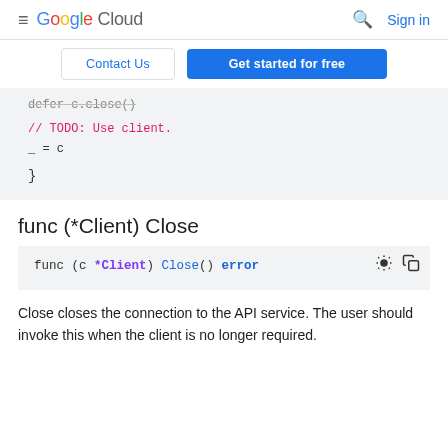Google Cloud — Search | Sign in
Contact Us | Get started for free
[Figure (screenshot): Code snippet showing: defer c.close() // TODO: Use client. _ = c }]
func (*Client) Close
[Figure (screenshot): Code block: func (c *Client) Close() error]
Close closes the connection to the API service. The user should invoke this when the client is no longer required.